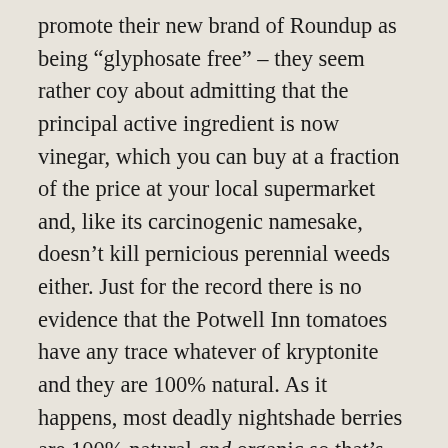promote their new brand of Roundup as being “glyphosate free” – they seem rather coy about admitting that the principal active ingredient is now vinegar, which you can buy at a fraction of the price at your local supermarket and, like its carcinogenic namesake, doesn’t kill pernicious perennial weeds either. Just for the record there is no evidence that the Potwell Inn tomatoes have any trace whatever of kryptonite and they are 100% natural. As it happens, most deadly nightshade berries are 100% natural and organic so that’s nice. “There is no evidence” is a favourite weapon of the lobbyists who spend billions making sure that the gathering of any evidence (especially the damaging kind) is discouraged.